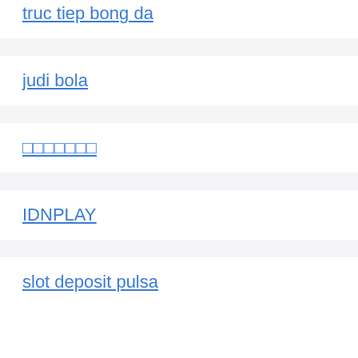truc tiep bong da
judi bola
□□□□□□□
IDNPLAY
slot deposit pulsa